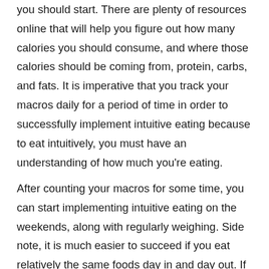you should start. There are plenty of resources online that will help you figure out how many calories you should consume, and where those calories should be coming from, protein, carbs, and fats. It is imperative that you track your macros daily for a period of time in order to successfully implement intuitive eating because to eat intuitively, you must have an understanding of how much you're eating.
After counting your macros for some time, you can start implementing intuitive eating on the weekends, along with regularly weighing. Side note, it is much easier to succeed if you eat relatively the same foods day in and day out. If you begin to